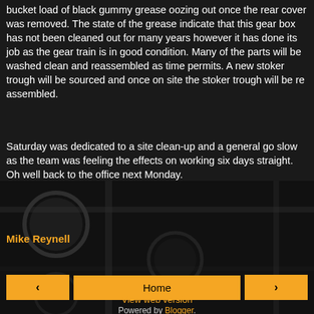bucket load of black gummy grease oozing out once the rear cover was removed. The state of the grease indicate that this gear box has not been cleaned out for many years however it has done its job as the gear train is in good condition. Many of the parts will be washed clean and reassembled as time permits. A new stoker trough will be sourced and once on site the stoker trough will be re assembled.
Saturday was dedicated to a site clean-up and a general go slow as the team was feeling the effects on working six days straight. Oh well back to the office next Monday.
Mike Reynell
Share
‹
Home
›
View web version
Powered by Blogger.